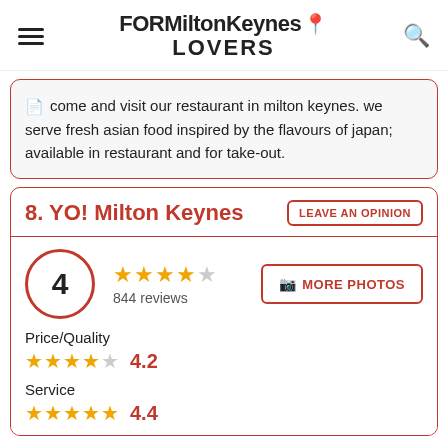FOR Milton Keynes LOVERS
come and visit our restaurant in milton keynes. we serve fresh asian food inspired by the flavours of japan; available in restaurant and for take-out.
8. YO! Milton Keynes
4 stars, 844 reviews
Price/Quality 4.2
Service 4.4